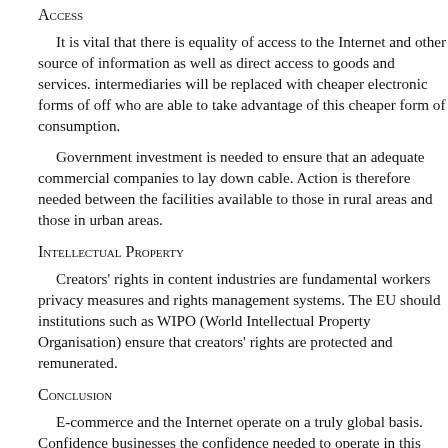Access
It is vital that there is equality of access to the Internet and other source of information as well as direct access to goods and services. intermediaries will be replaced with cheaper electronic forms of off who are able to take advantage of this cheaper form of consumption.
Government investment is needed to ensure that an adequate commercial companies to lay down cable. Action is therefore needed between the facilities available to those in rural areas and those in urban areas.
Intellectual Property
Creators' rights in content industries are fundamental workers privacy measures and rights management systems. The EU should institutions such as WIPO (World Intellectual Property Organisation) ensure that creators' rights are protected and remunerated.
Conclusion
E-commerce and the Internet operate on a truly global basis. businesses the confidence needed to operate in this sphere. confidence and businesses operating over the Internet may find by self imposed codes of conduct.
The Internet offers the potential for global access to world markets. internet then e-commerce could act to exacerbate the already growing divide. by e-commerce should not be over exaggerated. Whilst the use is currently very small. Ensuring equal access and reliability of services.